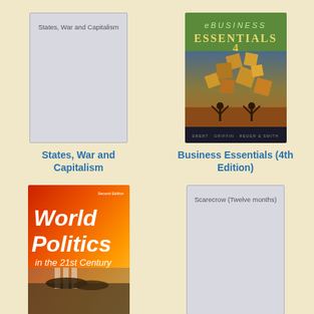[Figure (illustration): Book cover placeholder for 'States, War and Capitalism' — light grey cover with title text]
States, War and Capitalism
[Figure (photo): Book cover for 'Business Essentials (4th Edition)' — colorful cover with floating boxes and figures on green/brown background]
Business Essentials (4th Edition)
[Figure (photo): Book cover for 'World Politics in the 21st Century' — orange/red cover with bold white text, crowd scene photo]
[Figure (illustration): Book cover placeholder for 'Scarecrow (Twelve months)' — light grey cover with title text]
Scarecrow (Twelve months)